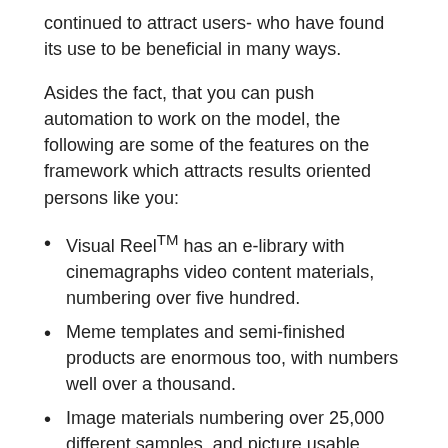continued to attract users- who have found its use to be beneficial in many ways.
Asides the fact, that you can push automation to work on the model, the following are some of the features on the framework which attracts results oriented persons like you:
Visual Reel™ has an e-library with cinemagraphs video content materials, numbering over five hundred.
Meme templates and semi-finished products are enormous too, with numbers well over a thousand.
Image materials numbering over 25,000 different samples, and picture usable quotes numbering over a thousand.
Once signed on as a user, you get the company's agency license that permits you to offer visual content creation services to your own individual or corporately sourced